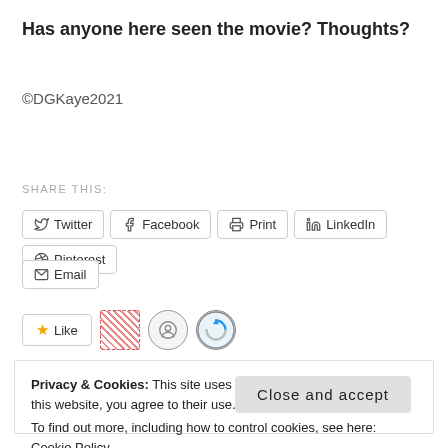Has anyone here seen the movie? Thoughts?
©DGKaye2021
SHARE THIS:
Twitter  Facebook  Print  LinkedIn  Pinterest
Email
Like
Privacy & Cookies: This site uses cookies. By continuing to use this website, you agree to their use.
To find out more, including how to control cookies, see here: Cookie Policy
Close and accept